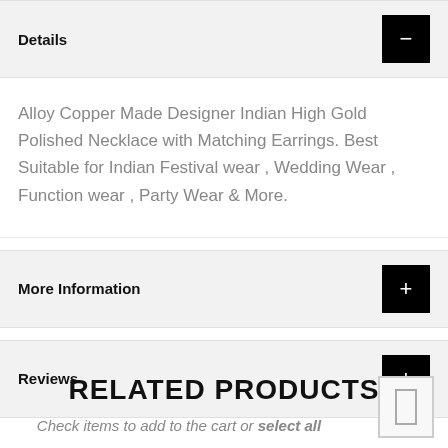Details
Alloy Copper Made Designer Indian High Gold Polished Necklace with Matching Earrings. Best Suitable for Indian Festival wear , Wedding Wear , Function wear , Party Wear & More.
More Information
Reviews
RELATED PRODUCTS
Check items to add to the cart or select all